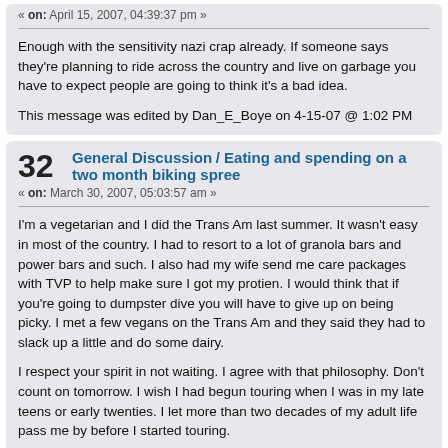« on: April 15, 2007, 04:39:37 pm »
Enough with the sensitivity nazi crap already.  If someone says they're planning to ride across the country and live on garbage you have to expect people are going to think it's a bad idea.
This message was edited by Dan_E_Boye on 4-15-07 @ 1:02 PM
32   General Discussion / Eating and spending on a two month biking spree
« on: March 30, 2007, 05:03:57 am »
I'm a vegetarian and I did the Trans Am last summer.  It wasn't easy in most of the country.  I had to resort to a lot of granola bars and power bars and such.  I also had my wife send me care packages with TVP to help make sure I got my protien.  I would think that if you're going to dumpster dive you will have to give up on being picky.  I met a few vegans on the Trans Am and they said they had to slack up a little and do some dairy.

I respect your spirit in not waiting.  I agree with that philosophy.  Don't count on tomorrow.  I wish I had begun touring when I was in my late teens or early twenties.  I let more than two decades of my adult life pass me by before I started touring.